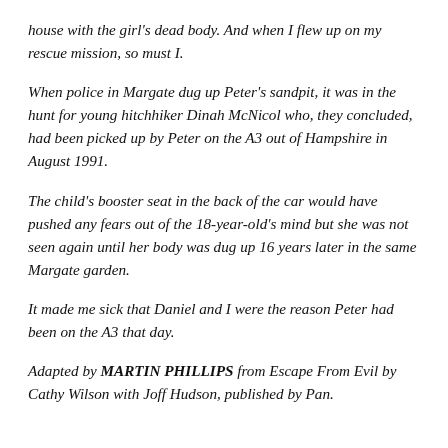house with the girl's dead body. And when I flew up on my rescue mission, so must I.
When police in Margate dug up Peter's sandpit, it was in the hunt for young hitchhiker Dinah McNicol who, they concluded, had been picked up by Peter on the A3 out of Hampshire in August 1991.
The child's booster seat in the back of the car would have pushed any fears out of the 18-year-old's mind but she was not seen again until her body was dug up 16 years later in the same Margate garden.
It made me sick that Daniel and I were the reason Peter had been on the A3 that day.
Adapted by MARTIN PHILLIPS from Escape From Evil by Cathy Wilson with Joff Hudson, published by Pan.